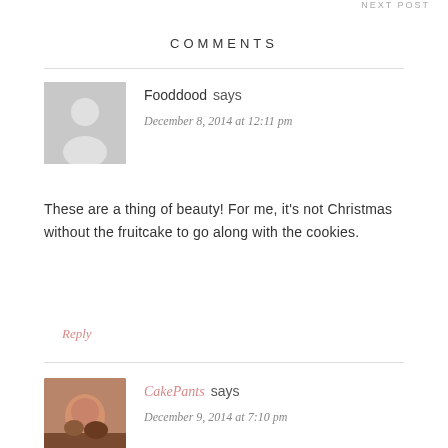NEXT POST
COMMENTS
Fooddood says
December 8, 2014 at 12:11 pm
These are a thing of beauty! For me, it's not Christmas without the fruitcake to go along with the cookies.
Reply
CakePants says
December 9, 2014 at 7:10 pm